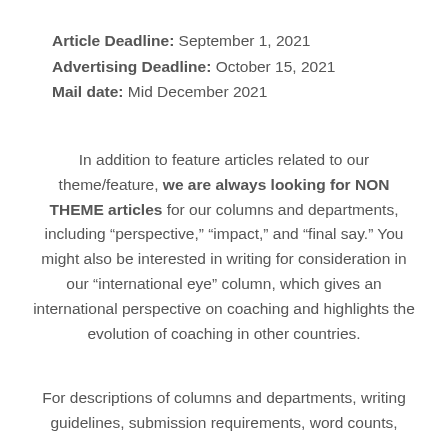Article Deadline:  September 1, 2021
Advertising Deadline:  October 15, 2021
Mail date: Mid December 2021
In addition to feature articles related to our theme/feature, we are always looking for NON THEME articles for our columns and departments, including “perspective,” “impact,” and “final say.” You might also be interested in writing for consideration in our “international eye” column, which gives an international perspective on coaching and highlights the evolution of coaching in other countries.
For descriptions of columns and departments, writing guidelines, submission requirements, word counts,